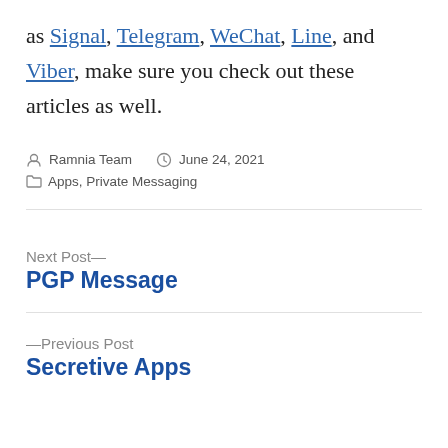as Signal, Telegram, WeChat, Line, and Viber, make sure you check out these articles as well.
Posted by Ramnia Team   June 24, 2021   Apps, Private Messaging
Next Post— PGP Message
—Previous Post Secretive Apps